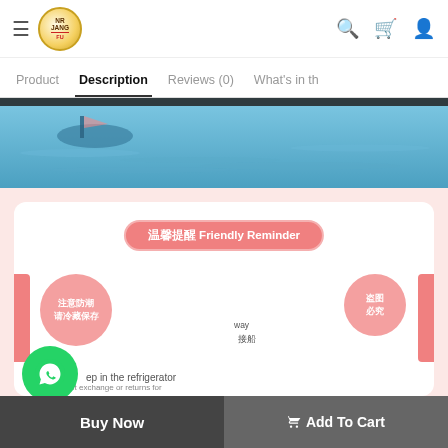≡ [NR JANG FU logo] [search icon] [cart icon] [user icon]
Product  Description  Reviews (0)  What's in th
[Figure (photo): Water/sea scene with boats, blue water, top portion of product image]
[Figure (infographic): Product description infographic: 温馨提醒 Friendly Reminder banner, two pink circles with Chinese text (注意防潮 请冷藏保存 and 盗图必究), WhatsApp green button, text about keeping in refrigerator, Chinese and English product care instructions, red side accents]
温馨提醒 Friendly Reminder
注意防潮 请冷藏保存
盗图必究
ep in the refrigerator
爽除凉地方，避免阳光直接照射 为保证最佳口感及避免发霉，请冷藏保存 勿食干燥剂
本店所有照片都会实物拍摄，盗图必究，所有图片仅供参考，产品以实物为准 All pictures are based on practicality, copyright reserved. All pictures are for illustration purpose only. Actual prod uct may vary due to product
way 接船
We do accept exchange or returns for
Buy Now
🛒 Add To Cart